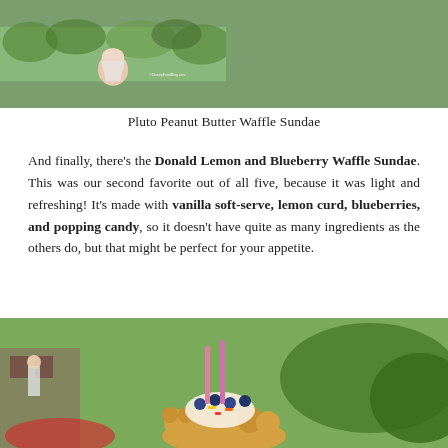[Figure (photo): Hand holding a waffle sundae treat against green leafy background, with DisneyFoodBlog.com watermark]
Pluto Peanut Butter Waffle Sundae
And finally, there’s the Donald Lemon and Blueberry Waffle Sundae. This was our second favorite out of all five, because it was light and refreshing! It’s made with vanilla soft-serve, lemon curd, blueberries, and popping candy, so it doesn’t have quite as many ingredients as the others do, but that might be perfect for your appetite.
[Figure (photo): Donald Lemon and Blueberry Waffle Sundae topped with blueberries, popping candy sticks, and colorful toppings, with outdoor Disney park background]